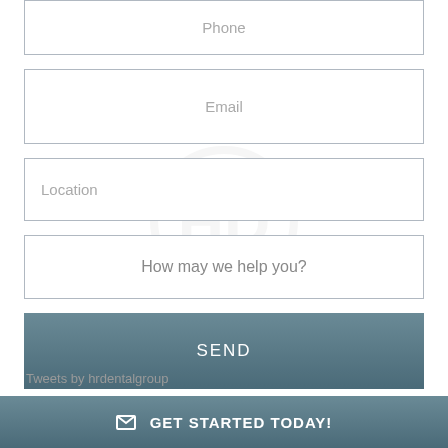Phone
Email
Location
How may we help you?
SEND
Tweets by hrdentalgroup
GET STARTED TODAY!